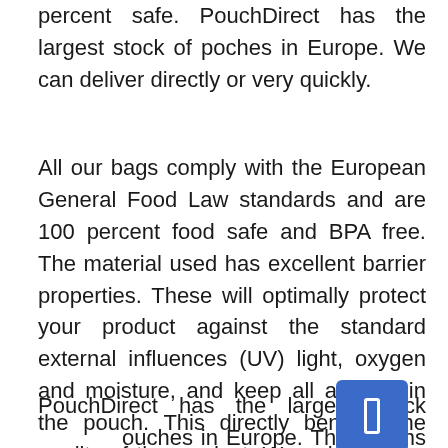percent safe. PouchDirect has the largest stock of poches in Europe. We can deliver directly or very quickly.
All our bags comply with the European General Food Law standards and are 100 percent food safe and BPA free. The material used has excellent barrier properties. These will optimally protect your product against the standard external influences (UV) light, oxygen and moisture, and keep all aromas in the pouch. This directly benefits the quality of the product. We only use top quality raw materials for our bags. All production facilities are certified.
PouchDirect has the largest stock of pouches in Europe. This means that we deliver directly or very